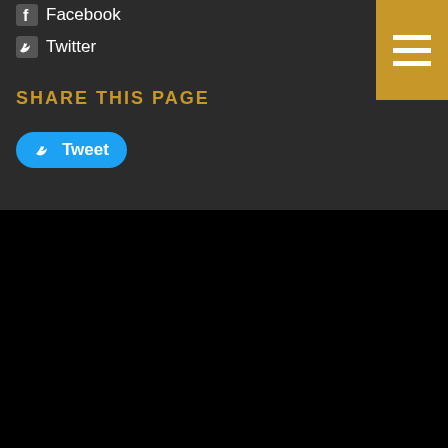Facebook
Twitter
SHARE THIS PAGE
Tweet
GOLD TRADERS
Secure payments by
[Figure (logo): PayPal, Visa, MasterCard, American Express payment logos]
© Copyright Gold-Traders (UK) Ltd 2015. All rights reserved. Company Registration Number: 6521732 Registered Office: 143 High Street, Royal Wootton Bassett, SN4 7AB
Terms and Conditions | Privacy Policy